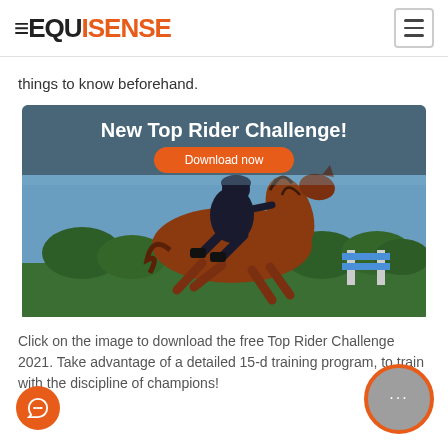EQUI SENSE
things to know beforehand.
[Figure (illustration): Promotional banner for 'New Top Rider Challenge!' with an orange 'Download now' button and a photo of a rider on a chestnut horse jumping over a fence.]
Click on the image to download the free Top Rider Challenge 2021. Take advantage of a detailed 15-d training program, to train with the discipline of champions!